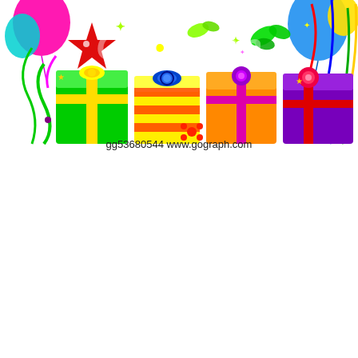[Figure (illustration): Colorful birthday party illustration with gift boxes (green, yellow, orange, purple/red), balloons (pink, blue, teal, yellow, red), ribbons, butterflies, stars, and flowers. Watermark text reads 'GoGraph' in white. Below the image: 'gg53680544  www.gograph.com']